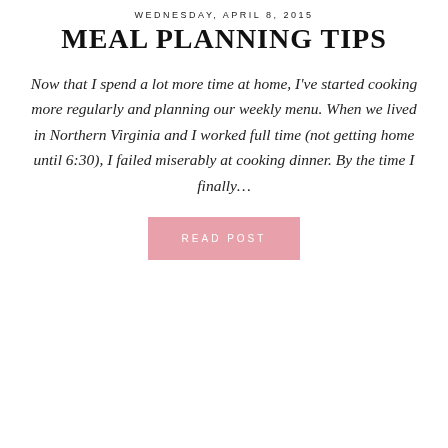WEDNESDAY, APRIL 8, 2015
MEAL PLANNING TIPS
Now that I spend a lot more time at home, I've started cooking more regularly and planning our weekly menu. When we lived in Northern Virginia and I worked full time (not getting home until 6:30), I failed miserably at cooking dinner. By the time I finally…